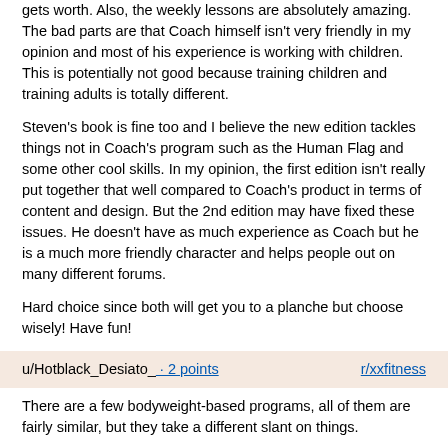gets worth. Also, the weekly lessons are absolutely amazing. The bad parts are that Coach himself isn't very friendly in my opinion and most of his experience is working with children. This is potentially not good because training children and training adults is totally different.
Steven's book is fine too and I believe the new edition tackles things not in Coach's program such as the Human Flag and some other cool skills. In my opinion, the first edition isn't really put together that well compared to Coach's product in terms of content and design. But the 2nd edition may have fixed these issues. He doesn't have as much experience as Coach but he is a much more friendly character and helps people out on many different forums.
Hard choice since both will get you to a planche but choose wisely! Have fun!
u/Hotblack_Desiato_ · 2 points    r/xxfitness
There are a few bodyweight-based programs, all of them are fairly similar, but they take a different slant on things.
You Are Your Own Gym is built around military-style calisthenics. There are variations of all the different movements that are based around making them easier so you can do fifty of them and experience that brand of misery, or to make them more difficult and strength-focused. YAYOG has a very nice set of apps that go with it as well.
Convict Conditioning is another bodyweight program based around six different movements (handstand, pull-up, push-up, leg-raises, back-bridge, pistol squat). The progressions are really nice, but the...